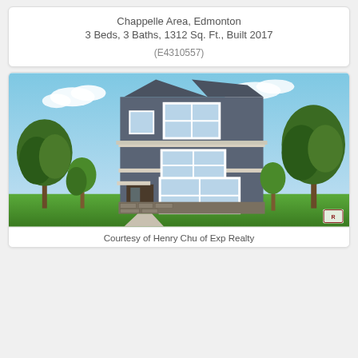Chappelle Area, Edmonton
3 Beds, 3 Baths, 1312 Sq. Ft., Built 2017
(E4310557)
[Figure (photo): Exterior rendering of a three-storey dark grey/blue house with white trim, large windows, front entry, stone accents at base, green trees on both sides, blue sky background.]
Courtesy of Henry Chu of Exp Realty